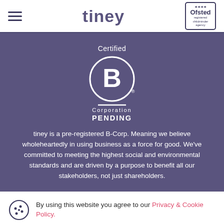tiney
[Figure (logo): B Corporation Certified PENDING logo — white circle with B on purple background, text: Certified, Corporation, PENDING]
tiney is a pre-registered B-Corp. Meaning we believe wholeheartedly in using business as a force for good. We've committed to meeting the highest social and environmental standards and are driven by a purpose to benefit all our stakeholders, not just shareholders.
By using this website you agree to our Privacy & Cookie Policy.
Accept